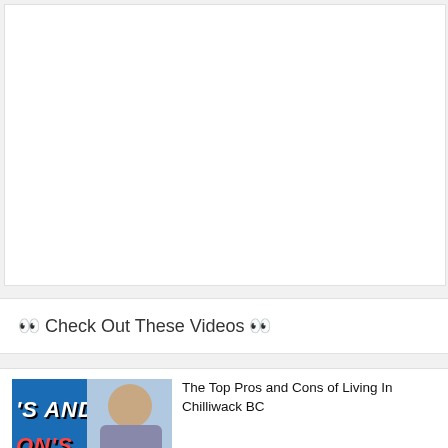[Figure (screenshot): Large white video embed area at the top of the page]
👀 Check Out These Videos 👀
[Figure (screenshot): Video thumbnail showing text "'S AND" and "ON'S" with a bald man's face, blue sky background]
The Top Pros and Cons of Living In Chilliwack BC